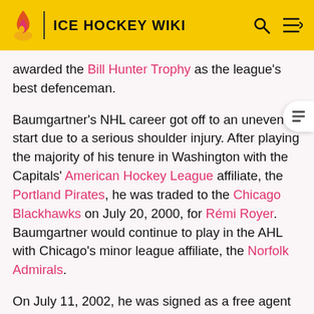ICE HOCKEY WIKI
awarded the Bill Hunter Trophy as the league's best defenceman.
Baumgartner's NHL career got off to an uneven start due to a serious shoulder injury. After playing the majority of his tenure in Washington with the Capitals' American Hockey League affiliate, the Portland Pirates, he was traded to the Chicago Blackhawks on July 20, 2000, for Rémi Royer. Baumgartner would continue to play in the AHL with Chicago's minor league affiliate, the Norfolk Admirals.
On July 11, 2002, he was signed as a free agent by the Vancouver Canucks. After one season with the Canucks, he was placed on waivers and picked up by the Pittsburgh